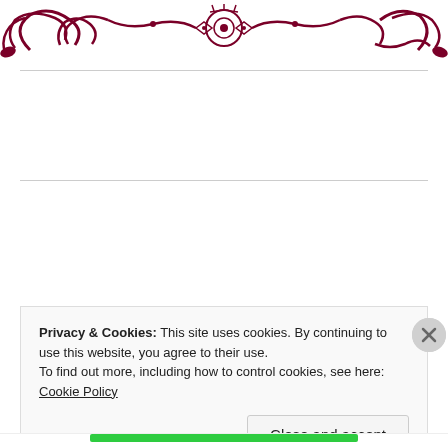[Figure (illustration): Decorative dark red/maroon ornamental header with swirling floral and mandala-like patterns]
Submit an Article to Beyond the Cusp
Privacy & Cookies: This site uses cookies. By continuing to use this website, you agree to their use.
To find out more, including how to control cookies, see here: Cookie Policy
Close and accept